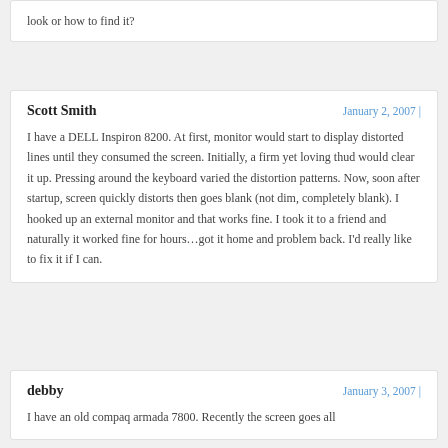look or how to find it?
Scott Smith
I have a DELL Inspiron 8200. At first, monitor would start to display distorted lines until they consumed the screen. Initially, a firm yet loving thud would clear it up. Pressing around the keyboard varied the distortion patterns. Now, soon after startup, screen quickly distorts then goes blank (not dim, completely blank). I hooked up an external monitor and that works fine. I took it to a friend and naturally it worked fine for hours…got it home and problem back. I'd really like to fix it if I can.
debby
I have an old compaq armada 7800. Recently the screen goes all